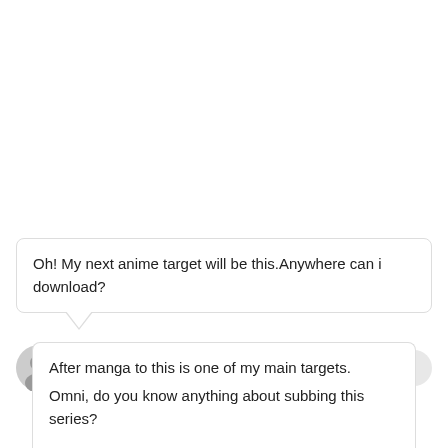Oh! My next anime target will be this.Anywhere can i download?
Taurus  17 years ago
← Reply
After manga to this is one of my main targets.
Omni, do you know anything about subbing this series?